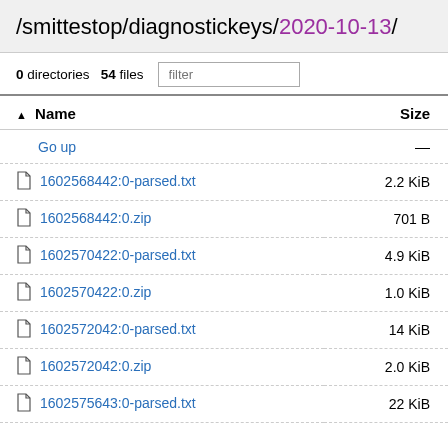/smittestop/diagnostickeys/2020-10-13/
0 directories   54 files   filter
| Name | Size |
| --- | --- |
| Go up | — |
| 1602568442:0-parsed.txt | 2.2 KiB |
| 1602568442:0.zip | 701 B |
| 1602570422:0-parsed.txt | 4.9 KiB |
| 1602570422:0.zip | 1.0 KiB |
| 1602572042:0-parsed.txt | 14 KiB |
| 1602572042:0.zip | 2.0 KiB |
| 1602575643:0-parsed.txt | 22 KiB |